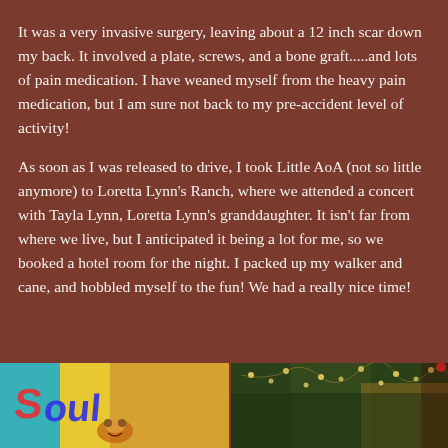It was a very invasive surgery, leaving about a 12 inch scar down my back. It involved a plate, screws, and a bone graft.....and lots of pain medication. I have weaned myself from the heavy pain medication, but I am sure not back to my pre-accident level of activity!
As soon as I was released to drive, I took Little AoA (not so little anymore) to Loretta Lynn's Ranch, where we attended a concert with Tayla Lynn, Loretta Lynn's granddaughter. It isn't far from where we live, but I anticipated it being a lot for me, so we booked a hotel room for the night. I packed up my walker and cane, and hobbled myself to the fun! We had a really nice time!
[Figure (photo): Two photos side by side at the bottom: left photo shows colorful graffiti-style art in teal, yellow, and orange tones with what appears to be a small figure or mascot; right photo shows string lights in a dark outdoor/indoor setting with warm bokeh lighting.]